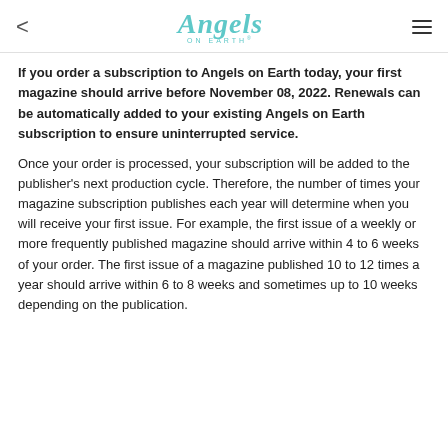Angels on Earth
If you order a subscription to Angels on Earth today, your first magazine should arrive before November 08, 2022. Renewals can be automatically added to your existing Angels on Earth subscription to ensure uninterrupted service.
Once your order is processed, your subscription will be added to the publisher's next production cycle. Therefore, the number of times your magazine subscription publishes each year will determine when you will receive your first issue. For example, the first issue of a weekly or more frequently published magazine should arrive within 4 to 6 weeks of your order. The first issue of a magazine published 10 to 12 times a year should arrive within 6 to 8 weeks and sometimes up to 10 weeks depending on the publication.